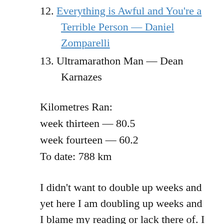12. Everything is Awful and You're a Terrible Person — Daniel Zomparelli
13. Ultramarathon Man — Dean Karnazes
Kilometres Ran:
week thirteen — 80.5
week fourteen — 60.2
To date: 788 km
I didn't want to double up weeks and yet here I am doubling up weeks and I blame my reading or lack there of. I read a story, then put the book down for who knows how long and get distracted, usually by obsessively playing The Division on Xbox. I'm an addict. It's not my only addiction. I was reading about history of The North Face and Patagonia, both in dog-eared